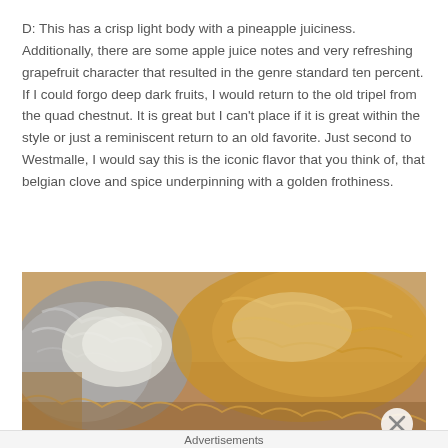D: This has a crisp light body with a pineapple juiciness. Additionally, there are some apple juice notes and very refreshing grapefruit character that resulted in the genre standard ten percent. If I could forgo deep dark fruits, I would return to the old tripel from the quad chestnut. It is great but I can't place if it is great within the style or just a reminiscent return to an old favorite. Just second to Westmalle, I would say this is the iconic flavor that you think of, that belgian clove and spice underpinning with a golden frothiness.
[Figure (photo): Close-up photo of a cat's fur, showing gray and golden/brown fur textures, top portion of the cat's head visible]
Advertisements